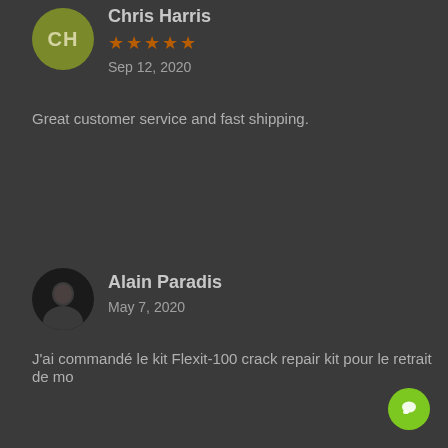[Figure (illustration): Olive green circle avatar with letters CH]
Chris Harris
[Figure (illustration): Five orange/brown star rating]
Sep 12, 2020
Great customer service and fast shipping.
[Figure (photo): Circular profile photo of Alain Paradis, dark background]
Alain Paradis
May 7, 2020
J'ai commandé le kit Flexit-100 crack repair kit pour le retrait de mo